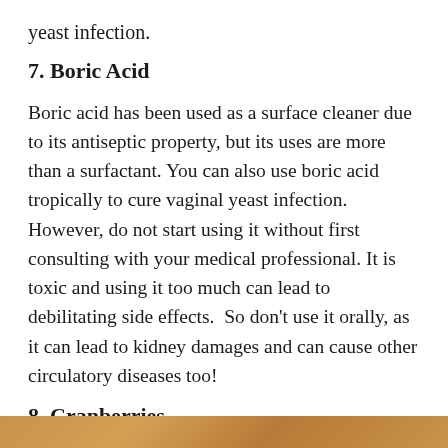yeast infection.
7. Boric Acid
Boric acid has been used as a surface cleaner due to its antiseptic property, but its uses are more than a surfactant. You can also use boric acid tropically to cure vaginal yeast infection. However, do not start using it without first consulting with your medical professional. It is toxic and using it too much can lead to debilitating side effects.  So don't use it orally, as it can lead to kidney damages and can cause other circulatory diseases too!
8. Cranberries
[Figure (photo): A warm golden-brown decorative image strip at the bottom of the page]